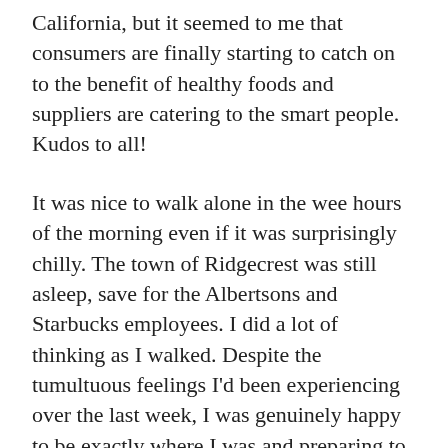California, but it seemed to me that consumers are finally starting to catch on to the benefit of healthy foods and suppliers are catering to the smart people. Kudos to all!
It was nice to walk alone in the wee hours of the morning even if it was surprisingly chilly. The town of Ridgecrest was still asleep, save for the Albertsons and Starbucks employees. I did a lot of thinking as I walked. Despite the tumultuous feelings I'd been experiencing over the last week, I was genuinely happy to be exactly where I was and preparing to start hiking north again. I was thankful for my trail family, for my real family, for the freedom and physical ability to even be doing something like this at all. It was a good morning.